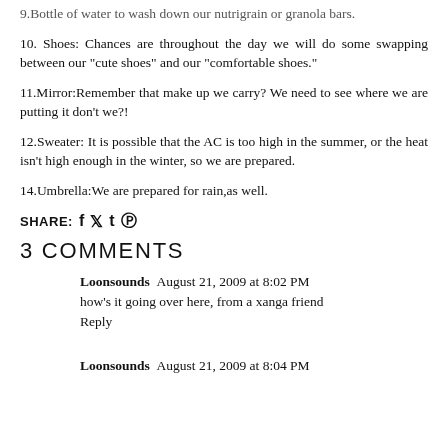9.Bottle of water to wash down our nutrigrain or granola bars.
10. Shoes: Chances are throughout the day we will do some swapping between our "cute shoes" and our "comfortable shoes."
11.Mirror:Remember that make up we carry? We need to see where we are putting it don't we?!
12.Sweater: It is possible that the AC is too high in the summer, or the heat isn't high enough in the winter, so we are prepared.
14.Umbrella:We are prepared for rain,as well.
SHARE: f t @
3 COMMENTS
Loonsounds  August 21, 2009 at 8:02 PM
how's it going over here, from a xanga friend
Reply
Loonsounds  August 21, 2009 at 8:04 PM